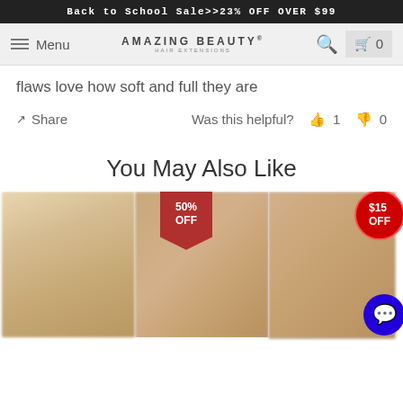Back to School Sale>>23% OFF OVER $99
Menu | AMAZING BEAUTY HAIR EXTENSIONS | Search | Cart 0
flaws love how soft and full they are
Share   Was this helpful? 👍 1 👎 0
You May Also Like
[Figure (photo): Three product images showing hair extensions. Left image shows blonde hair extensions product blurred. Middle image shows a woman's face with blonde hair blurred. Right image shows another hair extension/wig product blurred. A red ribbon badge shows '50% OFF' on the middle-left area. A red circular badge shows '$15 OFF' on the top-right product. A blue chat button is visible at the bottom right.]